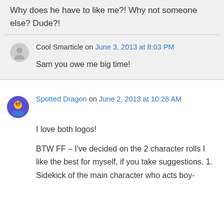Why does he have to like me?! Why not someone else? Dude?!
Cool Smarticle on June 3, 2013 at 8:03 PM
Sam you owe me big time!
Spotted Dragon on June 2, 2013 at 10:28 AM
I love both logos!
BTW FF – I've decided on the 2 character rolls I like the best for myself, if you take suggestions. 1. Sidekick of the main character who acts boy-